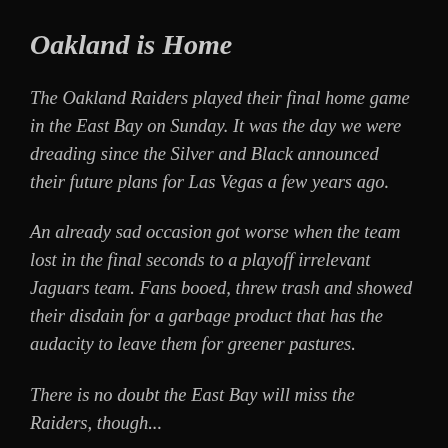Oakland is Home
The Oakland Raiders played their final home game in the East Bay on Sunday. It was the day we were dreading since the Silver and Black announced their future plans for Las Vegas a few years ago.
An already sad occasion got worse when the team lost in the final seconds to a playoff irrelevant Jaguars team. Fans booed, threw trash and showed their disdain for a garbage product that has the audacity to leave them for greener pastures.
There is no doubt the East Bay will miss the Raiders, though...